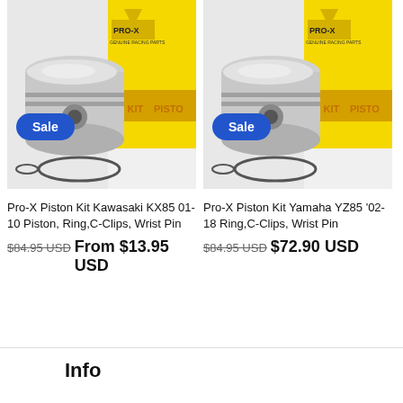[Figure (photo): Pro-X Piston Kit product photo showing a piston and piston rings next to a yellow Pro-X branded box, with a blue 'Sale' badge overlay]
Pro-X Piston Kit Kawasaki KX85 01- 10 Piston, Ring,C-Clips, Wrist Pin
$84.95 USD  From $13.95 USD
[Figure (photo): Pro-X Piston Kit product photo showing a piston and piston rings next to a yellow Pro-X branded box, with a blue 'Sale' badge overlay]
Pro-X Piston Kit Yamaha YZ85 '02-18 Ring,C-Clips, Wrist Pin
$84.95 USD  $72.90 USD
Info